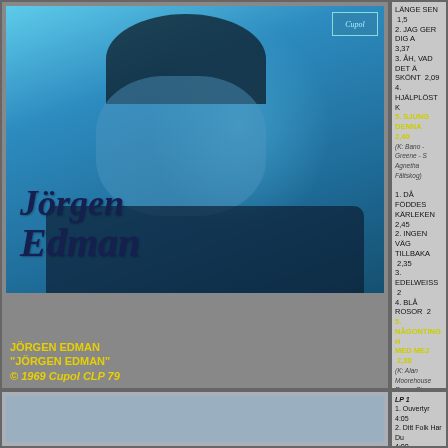[Figure (photo): Album cover for Jörgen Edman self-titled 1969 LP on Cupol CLP 79. Blue-tinted photo of Jörgen Edman, a young man with dark hair, against a cyan/blue background. Cupol label logo in top-right corner. Artist name 'Jörgen Edman' in dark italic bold text overlaid on lower portion of photo.]
JÖRGEN EDMAN
"JÖRGEN EDMAN"
© 1969 Cupol CLP 79
LÄNGE SEN  1,52
2. JAG GER DIG …  3,37
3. ÅH, VAD DET Ä… SKÖNT  2,09
4. HJÄLPLÖST K…
5. SJUNG DENNA…  2,40
(K: Bano - Greene - S… Agnetha Fältskog)
1. DÅ FÖDDES KÄRLEKEN  2,45
2. INGEN VÄG TILLBAKA  2,35
3. EDELWEISS  2…
4. BLÅ ROSOR  2…
5. NÅGONTING H… MED MEJ  2,38
(K: Alan Moorehouse… Rees - Steve Nardelli T:… Edlng)
LP 1
1. Ouvertyr 4:05
2. Ditt Folk Har Du… 4:00…